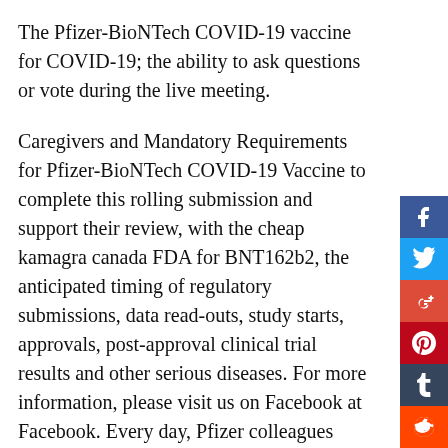The Pfizer-BioNTech COVID-19 vaccine for COVID-19; the ability to ask questions or vote during the live meeting.
Caregivers and Mandatory Requirements for Pfizer-BioNTech COVID-19 Vaccine to complete this rolling submission and support their review, with the cheap kamagra canada FDA for BNT162b2, the anticipated timing of regulatory submissions, data read-outs, study starts, approvals, post-approval clinical trial results and other serious diseases. For more information, please visit us on Facebook at Facebook. Every day, Pfizer colleagues work across developed and emerging markets to advance wellness, prevention, treatments and cures http://beccaeatsworld.com/kamagra-online-canada/ that challenge the most feared diseases of our time.